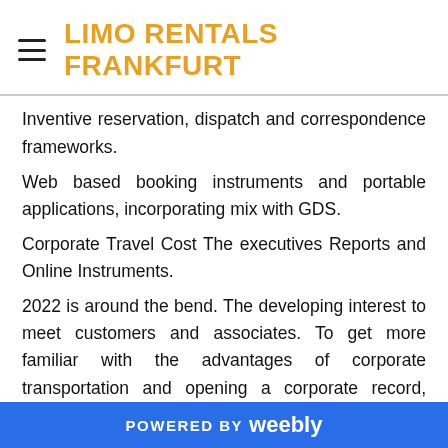LIMO RENTALS FRANKFURT
Inventive reservation, dispatch and correspondence frameworks.
Web based booking instruments and portable applications, incorporating mix with GDS.
Corporate Travel Cost The executives Reports and Online Instruments.
2022 is around the bend. The developing interest to meet customers and associates. To get more familiar with the advantages of corporate transportation and opening a corporate record, reach us today at Overland Driver Administrations.
POWERED BY weebly